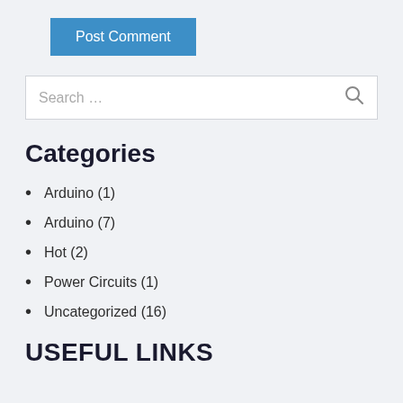[Figure (other): Post Comment button — blue rectangular button with white text]
[Figure (other): Search input box with placeholder text 'Search …' and a search icon on the right]
Categories
Arduino (1)
Arduino (7)
Hot (2)
Power Circuits (1)
Uncategorized (16)
USEFUL LINKS